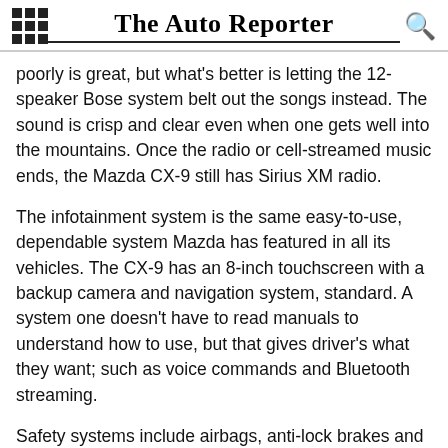The Auto Reporter
poorly is great, but what's better is letting the 12-speaker Bose system belt out the songs instead. The sound is crisp and clear even when one gets well into the mountains. Once the radio or cell-streamed music ends, the Mazda CX-9 still has Sirius XM radio.
The infotainment system is the same easy-to-use, dependable system Mazda has featured in all its vehicles. The CX-9 has an 8-inch touchscreen with a backup camera and navigation system, standard. A system one doesn't have to read manuals to understand how to use, but that gives driver's what they want; such as voice commands and Bluetooth streaming.
Safety systems include airbags, anti-lock brakes and the whole slew of industry standard features. Mazda has included radar cruise control, along with lane departure warning, lane keep assist, rear cross traffic alerts and rear backup sensors (on top of the camera).